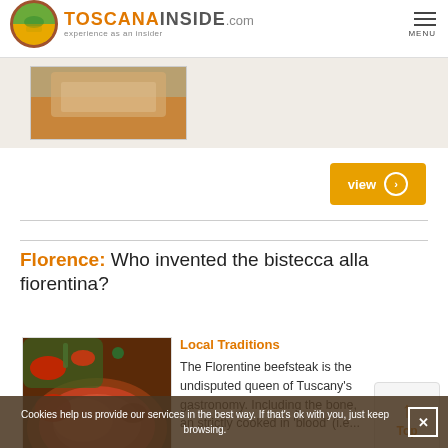TOSCANAINSIDE.com — experience as an insider | MENU
[Figure (photo): Partially visible food photo thumbnail in top image strip]
view
Florence: Who invented the bistecca alla fiorentina?
[Figure (photo): Close-up photo of Florentine beefsteak (bistecca alla fiorentina) — grilled meat showing rare red interior, garnished with herbs and tomatoes]
Local Traditions
The Florentine beefsteak is the undisputed queen of Tuscany's gastronomy. Including the bone, an strictly cooked in 'blood' (i.e....
Cookies help us provide our services in the best way. If that's ok with you, just keep browsing.